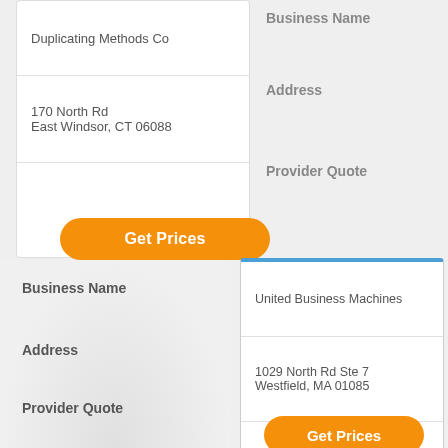Duplicating Methods Co
170 North Rd
East Windsor, CT 06088
Business Name
Address
Provider Quote
Get Prices
Business Name
Address
Provider Quote
United Business Machines
1029 North Rd Ste 7
Westfield, MA 01085
Get Prices